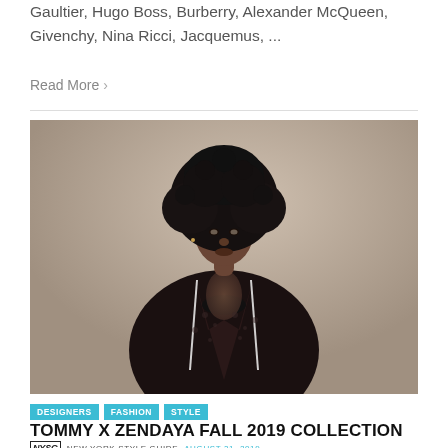Gaultier, Hugo Boss, Burberry, Alexander McQueen, Givenchy, Nina Ricci, Jacquemus, ...
Read More >
[Figure (photo): Fashion model with afro hairstyle wearing a dark floral open jacket over black lingerie, posed against a beige/taupe background]
DESIGNERS
FASHION
STYLE
TOMMY X ZENDAYA FALL 2019 COLLECTION
NYSG  NEW YORK STYLE GUIDE  AUGUST 31, 2019